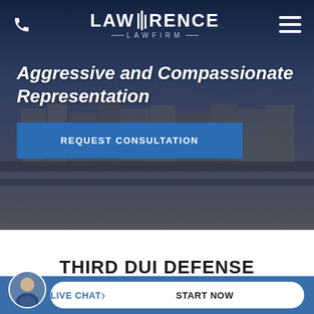[Figure (screenshot): Lawrence Law Firm website screenshot showing navigation bar with phone icon, Lawrence Law Firm logo, and hamburger menu icon over a dark blue background with aerial city photo]
Aggressive and Compassionate Representation
REQUEST CONSULTATION
THIRD DUI DEFENSE ATTORNEY IN
LIVE CHAT  START NOW